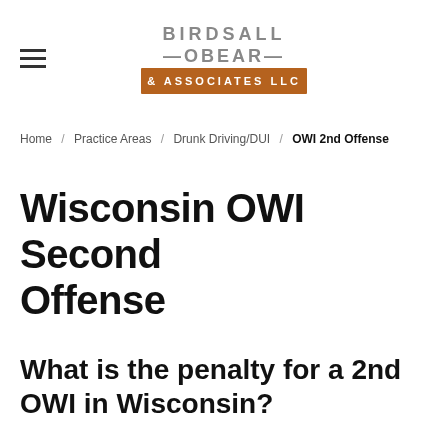BIRDSALL OBEAR & ASSOCIATES LLC
Home / Practice Areas / Drunk Driving/DUI / OWI 2nd Offense
Wisconsin OWI Second Offense
What is the penalty for a 2nd OWI in Wisconsin?